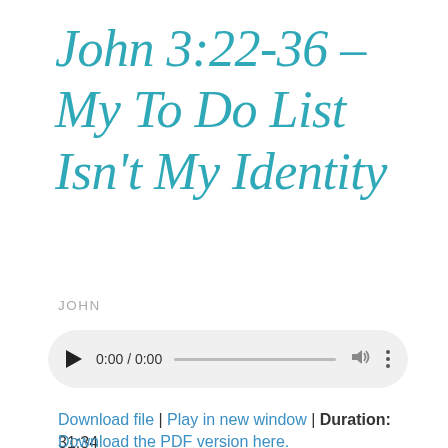John 3:22-36 – My To Do List Isn't My Identity
JOHN
[Figure (other): Audio player widget with play button, time display 0:00 / 0:00, progress bar, volume icon, and more options icon on a light grey rounded background]
Download file | Play in new window | Duration: 31:34
Download the PDF version here.